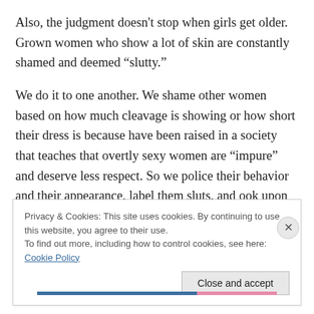Also, the judgment doesn't stop when girls get older. Grown women who show a lot of skin are constantly shamed and deemed “sluty.”
We do it to one another. We shame other women based on how much cleavage is showing or how short their dress is because have been raised in a society that teaches that overtly sexy women are “impure” and deserve less respect. So we police their behavior and their appearance, label them sluts, and ook upon them as if they is stupid or broken.
Privacy & Cookies: This site uses cookies. By continuing to use this website, you agree to their use.
To find out more, including how to control cookies, see here: Cookie Policy
Close and accept